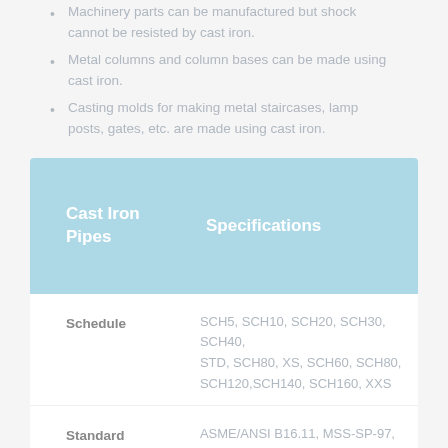Machinery parts can be manufactured but shock cannot be resisted by cast iron.
Metal columns and column bases can be made using cast iron.
Casting molds for making metal staircases, lamp posts, gates, etc. are made using cast iron.
| Cast Iron Pipes | Specifications |
| --- | --- |
| Schedule | SCH5, SCH10, SCH20, SCH30, SCH40, STD, SCH80, XS, SCH60, SCH80, SCH120,SCH140, SCH160, XXS |
| Standard | ASME/ANSI B16.11, MSS-SP-97, MSS-SP-79, JIS B2316, BS 3799 |
|  | 1/8"NB to 24"NB & 1/4"OD TO 24"OD |